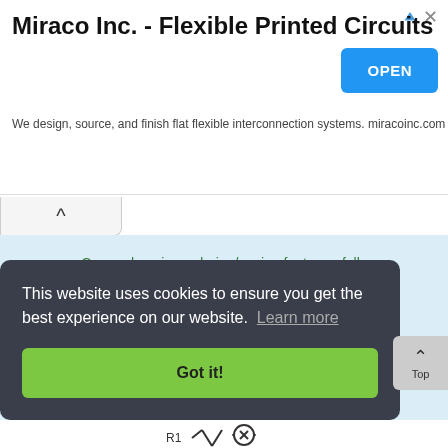Miraco Inc. - Flexible Printed Circuits
We design, source, and finish flat flexible interconnection systems. miracoinc.com
Comprehensive ordering/paying features. fully personalized to suit your Business.

Update Anytime! Easy and Simple!
This website uses cookies to ensure you get the best experience on our website. Learn more
Got it!